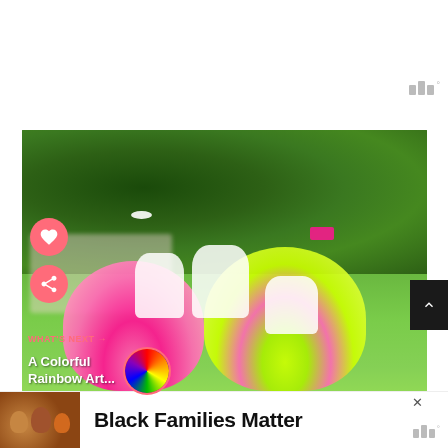[Figure (photo): Screenshot of a social media or content app showing young girls in pink and lime green tutus playing outdoors at a princess party on a green lawn with trees in background. Social sharing buttons (heart/like and share) visible on left side. 'What's Next' overlay showing 'A Colorful Rainbow Art...' with circular thumbnail. Wibbitz logo at top right. Bottom shows an ad banner for 'Black Families Matter' with a family photo thumbnail and close X button.]